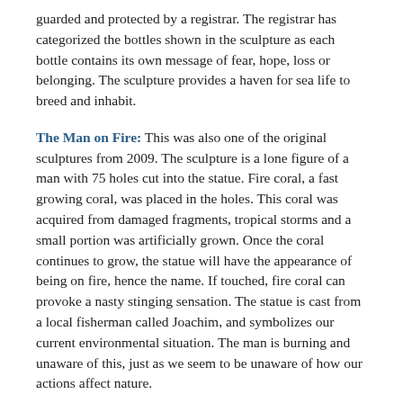guarded and protected by a registrar. The registrar has categorized the bottles shown in the sculpture as each bottle contains its own message of fear, hope, loss or belonging. The sculpture provides a haven for sea life to breed and inhabit.
The Man on Fire: This was also one of the original sculptures from 2009. The sculpture is a lone figure of a man with 75 holes cut into the statue. Fire coral, a fast growing coral, was placed in the holes. This coral was acquired from damaged fragments, tropical storms and a small portion was artificially grown. Once the coral continues to grow, the statue will have the appearance of being on fire, hence the name. If touched, fire coral can provoke a nasty stinging sensation. The statue is cast from a local fisherman called Joachim, and symbolizes our current environmental situation. The man is burning and unaware of this, just as we seem to be unaware of how our actions affect nature.
Anthropocene: Submerged in 2011, this sculpture is of course cast from a Volkswagen and the design allows for fish and marine life to enter the crevices of the car. The rounded shape of the beetle means it can sustain strong...